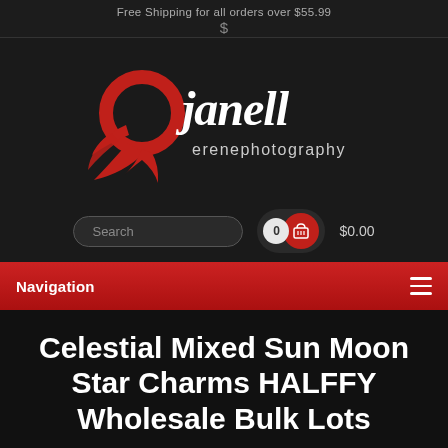Free Shipping for all orders over $55.99
$
[Figure (logo): Janell Erene Photography logo — stylized red phoenix/bird numeral 9 with white handwritten text 'janell' and smaller 'erenephotography' below]
Search   0  $0.00
Navigation
Celestial Mixed Sun Moon Star Charms HALFY Wholesale Bulk Lots